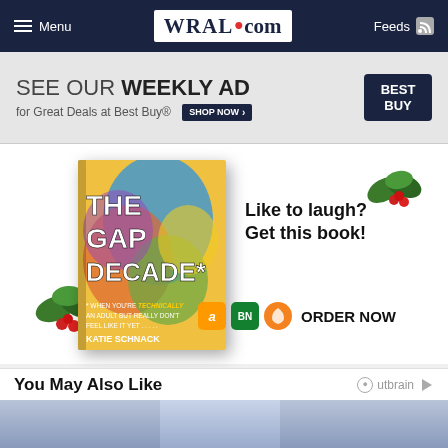WRAL.com — Menu | Feeds
[Figure (infographic): Best Buy weekly ad banner: SEE OUR WEEKLY AD for Great Deals at Best Buy® SHOP NOW button with Best Buy logo]
[Figure (infographic): Book advertisement for 'The Gap Decade' by Katie Schnack with holiday holly decorations. Text: Like to laugh? Get this book! ORDER NOW with Amazon, BN, and Audible icons.]
You May Also Like
[Figure (photo): Bottom image strip partially visible]